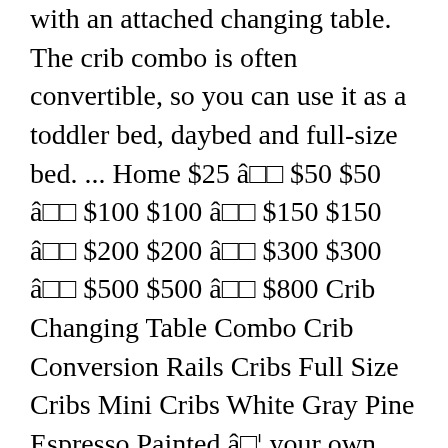with an attached changing table. The crib combo is often convertible, so you can use it as a toddler bed, daybed and full-size bed. ... Home $25 â□□ $50 $50 â□□ $100 $100 â□□ $150 $150 â□□ $200 $200 â□□ $300 $300 â□□ $500 $500 â□□ $800 Crib Changing Table Combo Crib Conversion Rails Cribs Full Size Cribs Mini Cribs White Gray Pine Espresso Painted â□¦ your own Pins on Pinterest If you're wondering how a mini crib can be converted into a large bed, it's because of the changing table which is completely removable! In this article, we will take a look at some of the best chosen affordable crib with changing table that you can buy online. $362.99. Casco 4-IN-1 Mini Crib and Changing Table in Black The